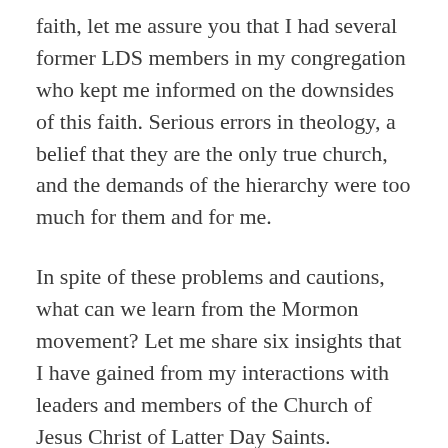faith, let me assure you that I had several former LDS members in my congregation who kept me informed on the downsides of this faith. Serious errors in theology, a belief that they are the only true church, and the demands of the hierarchy were too much for them and for me.
In spite of these problems and cautions, what can we learn from the Mormon movement? Let me share six insights that I have gained from my interactions with leaders and members of the Church of Jesus Christ of Latter Day Saints.
Another way of doing